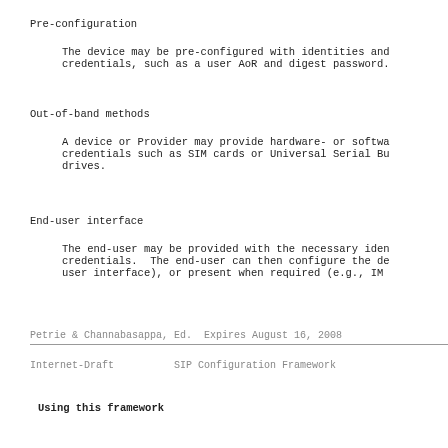Pre-configuration
The device may be pre-configured with identities and credentials, such as a user AoR and digest password.
Out-of-band methods
A device or Provider may provide hardware- or software credentials such as SIM cards or Universal Serial Bus drives.
End-user interface
The end-user may be provided with the necessary identities and credentials. The end-user can then configure the device (e.g., via a user interface), or present when required (e.g., IM
Petrie & Channabasappa, Ed.  Expires August 16, 2008
Internet-Draft          SIP Configuration Framework
Using this framework